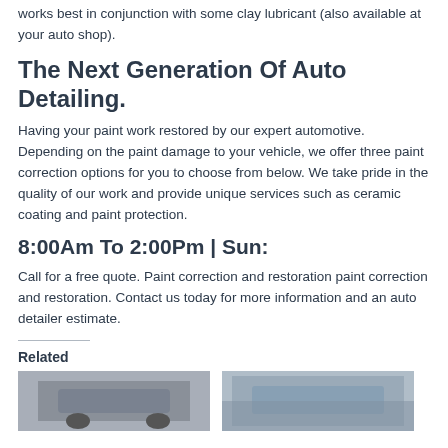works best in conjunction with some clay lubricant (also available at your auto shop).
The Next Generation Of Auto Detailing.
Having your paint work restored by our expert automotive. Depending on the paint damage to your vehicle, we offer three paint correction options for you to choose from below. We take pride in the quality of our work and provide unique services such as ceramic coating and paint protection.
8:00Am To 2:00Pm | Sun:
Call for a free quote. Paint correction and restoration paint correction and restoration. Contact us today for more information and an auto detailer estimate.
Related
[Figure (photo): Photo of car interior detail]
[Figure (photo): Photo of car exterior paint]